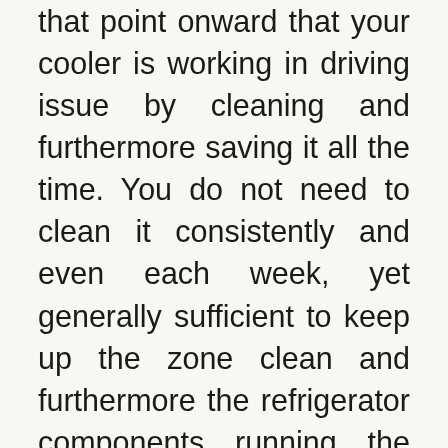that point onward that your cooler is working in driving issue by cleaning and furthermore saving it all the time. You do not need to clean it consistently and even each week, yet generally sufficient to keep up the zone clean and furthermore the refrigerator components running the technique they should. Tidying up is finished utilizing a clean and furthermore a modest quantity of moderate cleanser or cooking soda pop joined with clean water. Defrost the gadget, either by changing it off or setting the dial to defrost, and afterward invite two or three minutes. At that point, secure every one of the things out before the compartment.